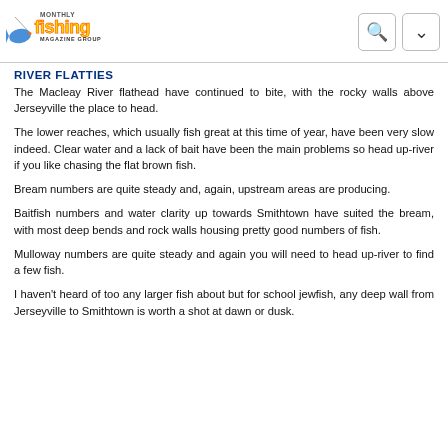Fishing Monthly Magazine Group
RIVER FLATTIES
The Macleay River flathead have continued to bite, with the rocky walls above Jerseyville the place to head.
The lower reaches, which usually fish great at this time of year, have been very slow indeed. Clear water and a lack of bait have been the main problems so head up-river if you like chasing the flat brown fish.
Bream numbers are quite steady and, again, upstream areas are producing.
Baitfish numbers and water clarity up towards Smithtown have suited the bream, with most deep bends and rock walls housing pretty good numbers of fish.
Mulloway numbers are quite steady and again you will need to head up-river to find a few fish.
I haven't heard of too any larger fish about but for school jewfish, any deep wall from Jerseyville to Smithtown is worth a shot at dawn or dusk.